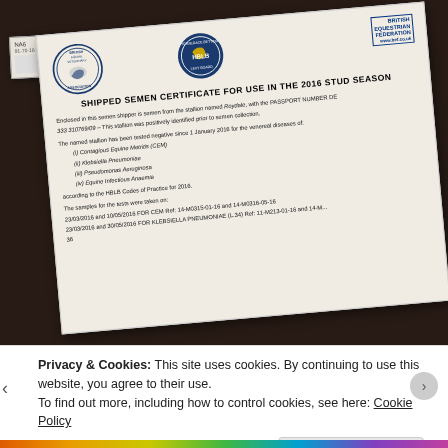[Figure (photo): Photograph of a Shipped Semen Certificate for use in the 2016 Stud Season, showing official seals including British Equine Veterinary Association and HBLB (Horserace Betting Levy Board), along with a sticker card showing 'NA6' and a label, placed on a dark background.]
Privacy & Cookies: This site uses cookies. By continuing to use this website, you agree to their use.
To find out more, including how to control cookies, see here: Cookie Policy
Close and accept